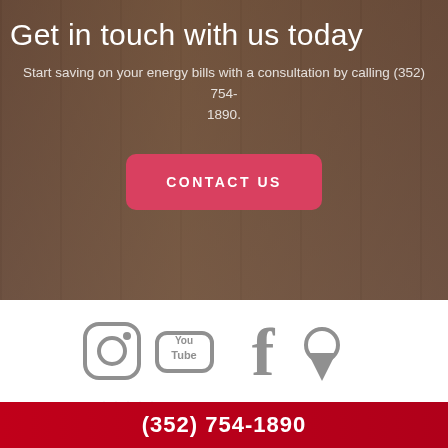Get in touch with us today
Start saving on your energy bills with a consultation by calling (352) 754-1890.
[Figure (other): Red rounded rectangle button with text CONTACT US]
[Figure (other): Social media icons: Instagram, YouTube, Facebook, Location pin, all in grey]
[Figure (logo): LinkNow logo with dot-matrix star pattern and underline]
(352) 754-1890